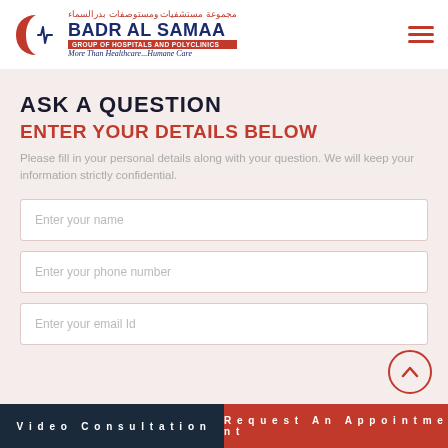[Figure (logo): Badr Al Samaa Group of Hospitals and Polyclinics logo with red crescent moon, ECG line, Arabic text, and tagline 'More Than Healthcare...Humane Care']
ASK A QUESTION
ENTER YOUR DETAILS BELOW
Please fill in your personal details along with your question. We will keep your information strictly confidential.
Enter your name
Enter your phone number
Enter your email Id
Video Consultation | Request An Appointment